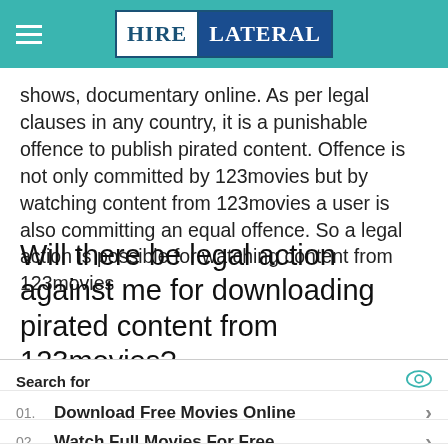HIRE LATERAL
shows, documentary online. As per legal clauses in any country, it is a punishable offence to publish pirated content. Offence is not only committed by 123movies but by watching content from 123movies a user is also committing an equal offence. So a legal action is possible for watching content from 123movies
Will there be legal action against me for downloading pirated content from 123movies?
Search for
01. Download Free Movies Online
02. Watch Full Movies For Free
Yahoo! Search | Sponsored